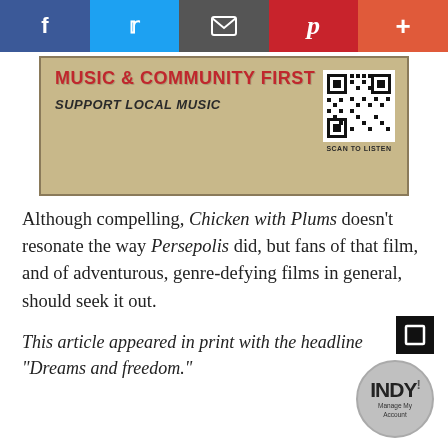Social share bar: Facebook, Twitter, Email, Pinterest, Plus
[Figure (other): Banner advertisement reading 'MUSIC & COMMUNITY FIRST' in red bold text, 'SUPPORT LOCAL MUSIC' in bold italic, with a QR code on the right and 'SCAN TO LISTEN' below the QR code, on a aged parchment-style background]
Although compelling, Chicken with Plums doesn't resonate the way Persepolis did, but fans of that film, and of adventurous, genre-defying films in general, should seek it out.
This article appeared in print with the headline "Dreams and freedom."
[Figure (logo): INDY logo circle with 'Manage My Account' text, and a black square expand button]